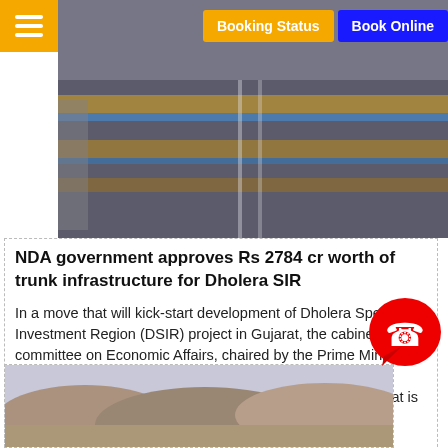[Figure (photo): Aerial view of road/highway infrastructure under construction with yellow lane markings and blue borders visible]
Booking Status  Book Online
NDA government approves Rs 2784 cr worth of trunk infrastructure for Dholera SIR
In a move that will kick-start development of Dholera Special Investment Region (DSIR) project in Gujarat, the cabinet committee on Economic Affairs, chaired by the Prime Minister Narendra Modi, has approved the construction of trunk infrastructure worth about Rs 2784.83 crore for a project that is being envisaged as a ◆Smart City◆
Read More
[Figure (photo): Landscape/terrain photo showing hilly or arid land]